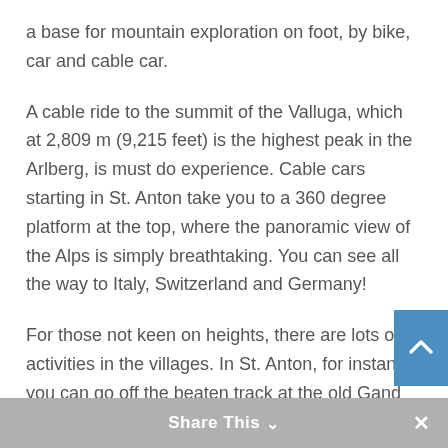a base for mountain exploration on foot, by bike, car and cable car.
A cable ride to the summit of the Valluga, which at 2,809 m (9,215 feet) is the highest peak in the Arlberg, is must do experience. Cable cars starting in St. Anton take you to a 360 degree platform at the top, where the panoramic view of the Alps is simply breathtaking. You can see all the way to Italy, Switzerland and Germany!
For those not keen on heights, there are lots of activities in the villages. In St. Anton, for instance, you can go off the beaten track at the old Gand mines (which only opened in 2020) where you can explore the walkable tunnels. Or enjoy nature in the thick fir forests of the mystical Verwalltal valley, or take a drive to Stuben and stroll through the serpentine streets of the tiny hamlet